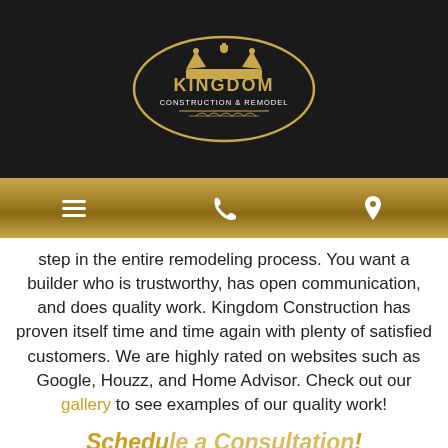Kingdom Construction & Remodel logo and navigation
step in the entire remodeling process. You want a builder who is trustworthy, has open communication, and does quality work. Kingdom Construction has proven itself time and time again with plenty of satisfied customers. We are highly rated on websites such as Google, Houzz, and Home Advisor. Check out our gallery to see examples of our quality work!
Schedule a Consultation!
Once you have ... rule ...
[Figure (other): Chat popup showing 'We're offline' and 'Leave a message' with blue chat button icon]